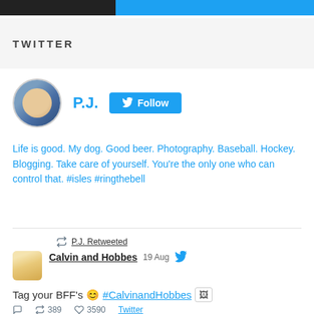[Figure (screenshot): Top navigation buttons: dark button on left, blue button on right]
TWITTER
[Figure (photo): Profile avatar of P.J. - circular photo of a person]
P.J.
[Figure (screenshot): Follow button with Twitter bird icon]
Life is good. My dog. Good beer. Photography. Baseball. Hockey. Blogging. Take care of yourself. You're the only one who can control that. #isles #ringthebell
P.J. Retweeted
Calvin and Hobbes   19 Aug
Tag your BFF's 😊 #CalvinandHobbes
389   3590   Twitter